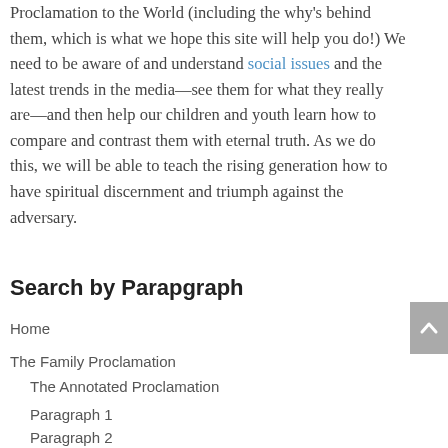Proclamation to the World (including the why's behind them, which is what we hope this site will help you do!) We need to be aware of and understand social issues and the latest trends in the media—see them for what they really are—and then help our children and youth learn how to compare and contrast them with eternal truth. As we do this, we will be able to teach the rising generation how to have spiritual discernment and triumph against the adversary.
Search by Parapgraph
Home
The Family Proclamation
The Annotated Proclamation
Paragraph 1
Paragraph 2